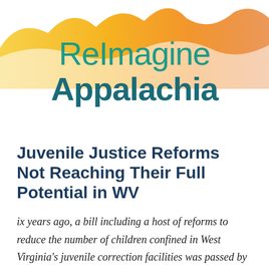[Figure (illustration): Abstract mountain/hill silhouette in golden yellow and orange gradient used as decorative header for ReImagine Appalachia logo]
ReImagine Appalachia
Juvenile Justice Reforms Not Reaching Their Full Potential in WV
ix years ago, a bill including a host of reforms to reduce the number of children confined in West Virginia's juvenile correction facilities was passed by